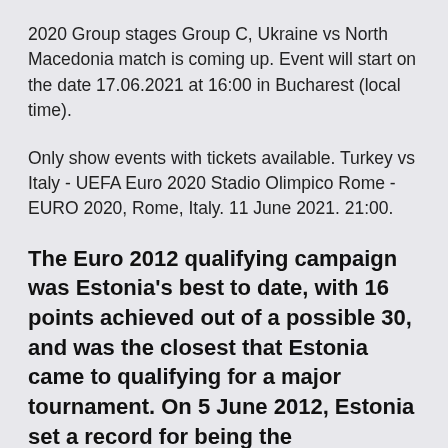2020 Group stages Group C, Ukraine vs North Macedonia match is coming up. Event will start on the date 17.06.2021 at 16:00 in Bucharest (local time).
Only show events with tickets available. Turkey vs Italy - UEFA Euro 2020 Stadio Olimpico Rome - EURO 2020, Rome, Italy. 11 June 2021. 21:00.
The Euro 2012 qualifying campaign was Estonia's best to date, with 16 points achieved out of a possible 30, and was the closest that Estonia came to qualifying for a major tournament. On 5 June 2012, Estonia set a record for being the